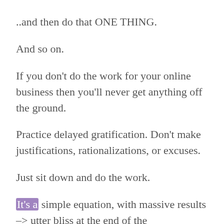..and then do that ONE THING.
And so on.
If you don't do the work for your online business then you'll never get anything off the ground.
Practice delayed gratification. Don't make justifications, rationalizations, or excuses.
Just sit down and do the work.
It's a simple equation, with massive results -> utter bliss at the end of the